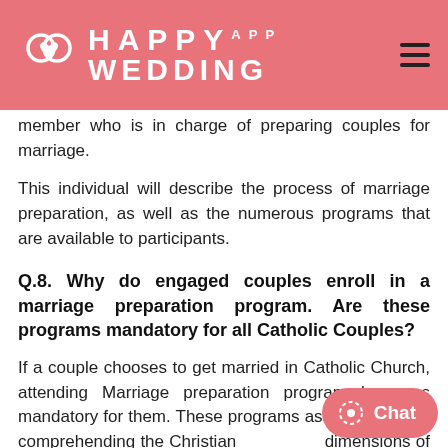HAPPY WEDDING APP
member who is in charge of preparing couples for marriage.
This individual will describe the process of marriage preparation, as well as the numerous programs that are available to participants.
Q.8. Why do engaged couples enroll in a marriage preparation program. Are these programs mandatory for all Catholic Couples?
If a couple chooses to get married in Catholic Church, attending Marriage preparation program becomes mandatory for them. These programs assist couples in comprehending the Christian dimensions of marriage. Typical subje… significance of marriage as a sacrament; faith, prayer…